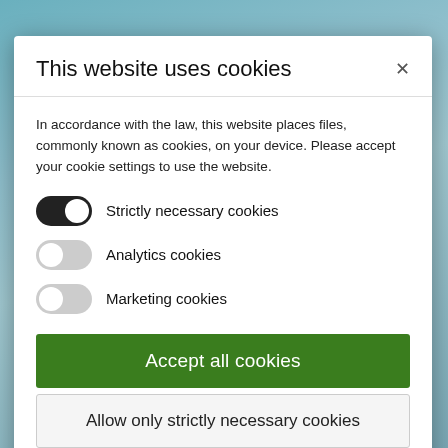[Figure (screenshot): Background image of medical/scientific equipment in teal/blue tones, partially visible behind the cookie consent modal.]
This website uses cookies
In accordance with the law, this website places files, commonly known as cookies, on your device. Please accept your cookie settings to use the website.
Strictly necessary cookies (toggle: ON)
Analytics cookies (toggle: OFF)
Marketing cookies (toggle: OFF)
Accept all cookies
Allow only strictly necessary cookies
Learn more